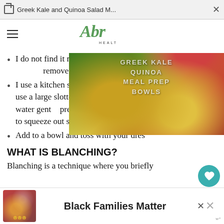Greek Kale and Quinoa Salad M...
[Figure (photo): Food meal prep containers with Greek kale and quinoa salad bowls, showing greens, chickpeas, tomatoes, lemon slices and various colorful vegetables. Watermark text reads: GREEK KALE QUINOA MEAL PREP BOWLS]
I do not find it necessary to place the greens in cold water. I remove from the boiling water after 2 minutes.
I use a kitchen spider to remove the greens or you could use a large slotted spoon. Once removed from the boiling water gently press down on the greens with another spoon to squeeze out some liquid.
Add to a bowl and toss with your dressing!
WHAT IS BLANCHING?
Blanching is a technique where you briefly immerse vegetables in boiling water and then
[Figure (photo): Advertisement image showing smiling family with text 'Black Families Matter']